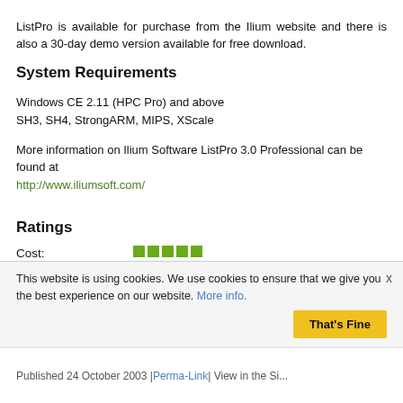ListPro is available for purchase from the Ilium website and there is also a 30-day demo version available for free download.
System Requirements
Windows CE 2.11 (HPC Pro) and above
SH3, SH4, StrongARM, MIPS, XScale
More information on Ilium Software ListPro 3.0 Professional can be found at
http://www.iliumsoft.com/
Ratings
| Category | Rating |
| --- | --- |
| Cost: | 5/5 |
| Usability: | 5/5 |
| Built-in Help: | 4.5/5 |
| Customer Service: | 4.5/5 |
| Overall: | 4.5/5 |
This website is using cookies. We use cookies to ensure that we give you the best experience on our website. More info. That's Fine
Published 24 October 2003 | Perma-Link | View in the Sit...